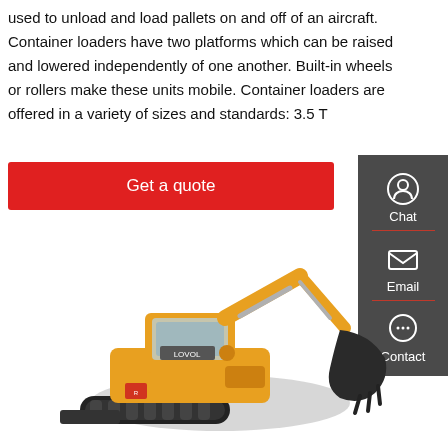used to unload and load pallets on and off of an aircraft. Container loaders have two platforms which can be raised and lowered independently of one another. Built-in wheels or rollers make these units mobile. Container loaders are offered in a variety of sizes and standards: 3.5 T
[Figure (other): Red button with white text 'Get a quote']
[Figure (other): Dark grey sidebar with chat, email, and contact icons]
[Figure (photo): Yellow LOVOL excavator/mini crawler excavator with black bucket on white background]